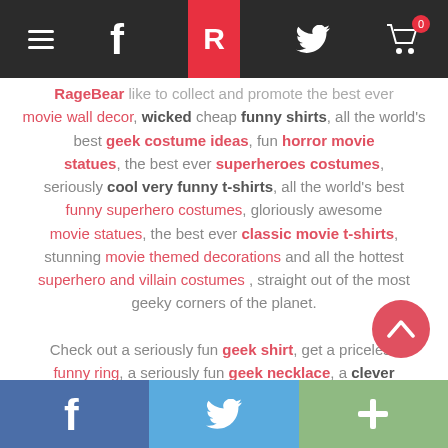RageBear navigation bar with menu, Facebook, logo R, Twitter, cart (0)
RageBear like to collect and promote the best ever movie wall decor, wicked cheap funny shirts, all the world's best geek costume ideas, fun horror movie statues, the best ever superheroes costumes, seriously cool very funny t-shirts, all the world's best funny superhero costumes, gloriously awesome movie statues, the best ever classic movie t-shirts, stunning movie themed decorations and all the hottest superhero and villain costumes , straight out of the most geeky corners of the planet.
Check out a seriously fun geek shirt, get a priceless funny ring, a seriously fun geek necklace, a clever funny backpack, a rare geek mug, a stunning movie collectible or a rare superhero outfit in our store
Facebook | Twitter | Plus